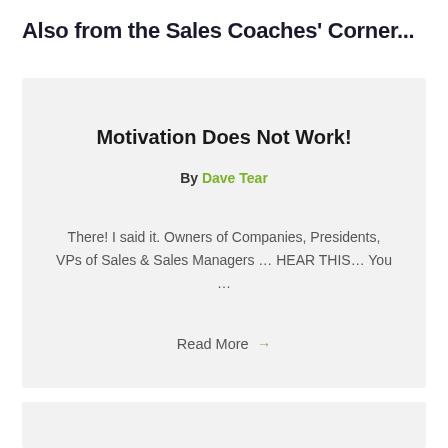Also from the Sales Coaches' Corner...
Motivation Does Not Work!
By Dave Tear
There! I said it. Owners of Companies, Presidents, VPs of Sales & Sales Managers ... HEAR THIS... You ...
Read More →
Sales is nothing more than setting